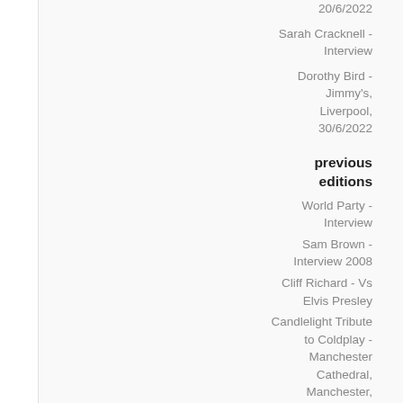20/6/2022
Sarah Cracknell - Interview
Dorothy Bird - Jimmy's, Liverpool, 30/6/2022
previous editions
World Party - Interview
Sam Brown - Interview 2008
Cliff Richard - Vs Elvis Presley
Candlelight Tribute to Coldplay - Manchester Cathedral, Manchester,